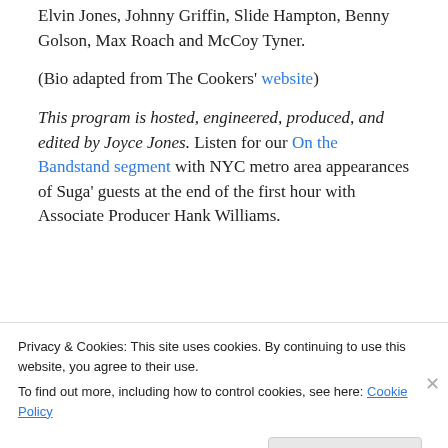Elvin Jones, Johnny Griffin, Slide Hampton, Benny Golson, Max Roach and McCoy Tyner.
(Bio adapted from The Cookers' website)
This program is hosted, engineered, produced, and edited by Joyce Jones. Listen for our On the Bandstand segment with NYC metro area appearances of Suga' guests at the end of the first hour with Associate Producer Hank Williams.
[Figure (other): Partial blue media player/banner bar with a white tab at top-left and ellipsis dots]
Privacy & Cookies: This site uses cookies. By continuing to use this website, you agree to their use.
To find out more, including how to control cookies, see here: Cookie Policy
Close and accept